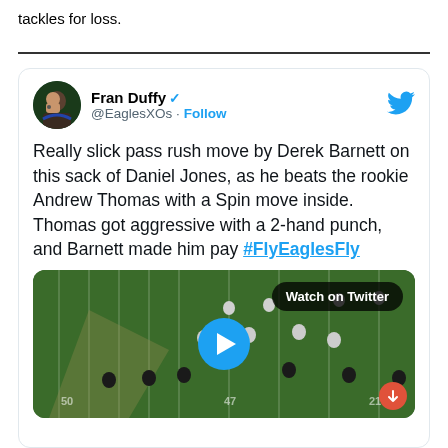tackles for loss.
[Figure (screenshot): Embedded tweet from @EaglesXOs (Fran Duffy) on Twitter with verified badge and Follow button. Tweet text: 'Really slick pass rush move by Derek Barnett on this sack of Daniel Jones, as he beats the rookie Andrew Thomas with a Spin move inside. Thomas got aggressive with a 2-hand punch, and Barnett made him pay #FlyEaglesFly'. Includes a video thumbnail of a football game with 'Watch on Twitter' button and play button overlay.]